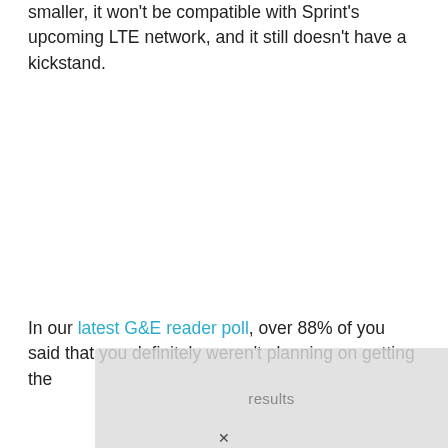smaller, it won't be compatible with Sprint's upcoming LTE network, and it still doesn't have a kickstand.
In our latest G&E reader poll, over 88% of you said that you definitely weren't planning on getting the